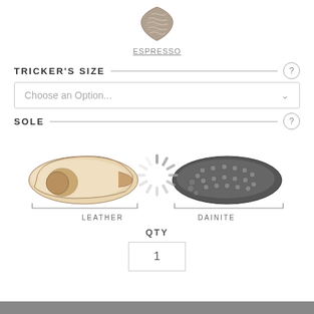[Figure (illustration): Leather texture icon (grey/tan, shield-like shape) representing the Espresso leather color option]
ESPRESSO
TRICKER'S SIZE
Choose an Option...
SOLE
[Figure (illustration): Two shoe sole images side by side: left is a light tan leather sole, right is a dark grey Dainite sole with studded pattern. A loading spinner icon overlaps the center. Bracket labels below read LEATHER and DAINITE.]
LEATHER
DAINITE
QTY
1